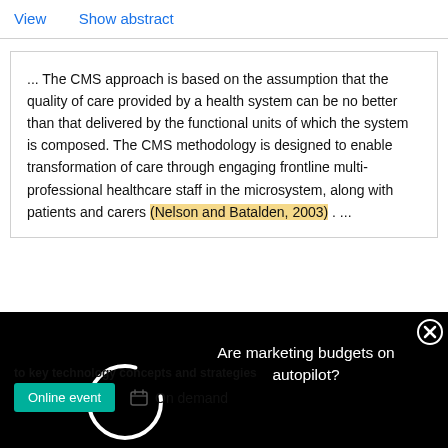View   Show abstract
... The CMS approach is based on the assumption that the quality of care provided by a health system can be no better than that delivered by the functional units of which the system is composed. The CMS methodology is designed to enable transformation of care through engaging frontline multi-professional healthcare staff in the microsystem, along with patients and carers (Nelson and Batalden, 2003) . ...
[Figure (screenshot): Black overlay ad panel with a loading spinner on the left and text 'Are marketing budgets on autopilot?' on the right with a close (X) button]
to key technology concepts and strategies
Online event   On demand